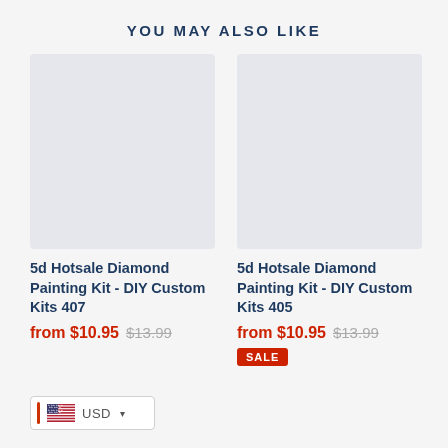YOU MAY ALSO LIKE
[Figure (photo): Placeholder product image for 5d Hotsale Diamond Painting Kit - DIY Custom Kits 407, light gray rectangle]
5d Hotsale Diamond Painting Kit - DIY Custom Kits 407
from $10.95  $13.99
[Figure (photo): Placeholder product image for 5d Hotsale Diamond Painting Kit - DIY Custom Kits 405, light gray rectangle]
5d Hotsale Diamond Painting Kit - DIY Custom Kits 405
from $10.95  $13.99
SALE
USD